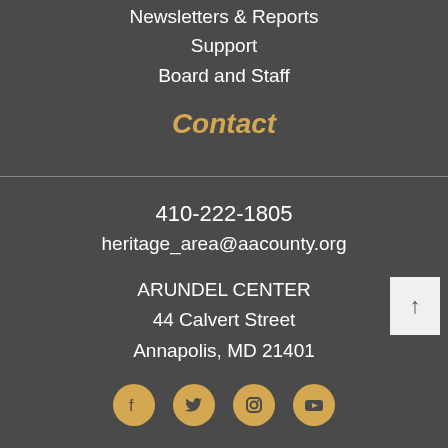Newsletters & Reports
Support
Board and Staff
Contact
410-222-1805
heritage_area@aacounty.org
ARUNDEL CENTER
44 Calvert Street
Annapolis, MD 21401
[Figure (illustration): Social media icons: Facebook, Twitter, Instagram, YouTube on gold circles]